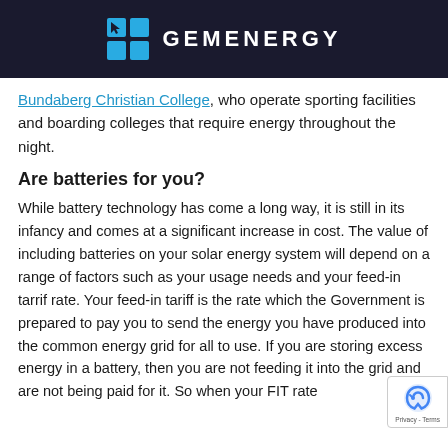[Figure (logo): GemEnergy logo: a blue grid/solar panel icon on the left, and the text GEMENERGY in white capital letters on a dark background]
Bundaberg Christian College, who operate sporting facilities and boarding colleges that require energy throughout the night.
Are batteries for you?
While battery technology has come a long way, it is still in its infancy and comes at a significant increase in cost. The value of including batteries on your solar energy system will depend on a range of factors such as your usage needs and your feed-in tarrif rate. Your feed-in tariff is the rate which the Government is prepared to pay you to send the energy you have produced into the common energy grid for all to use. If you are storing excess energy in a battery, then you are not feeding it into the grid and are not being paid for it. So when your FIT rate is high, it may not be the most economical thing to...